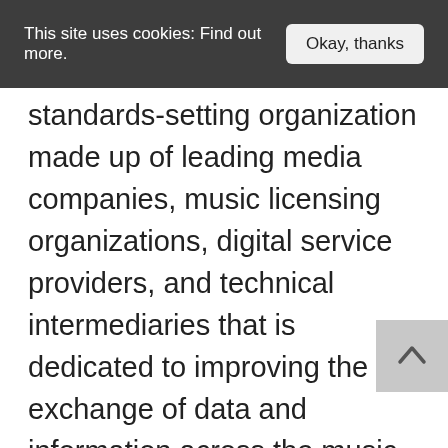This site uses cookies: Find out more. Okay, thanks
standards-setting organization made up of leading media companies, music licensing organizations, digital service providers, and technical intermediaries that is dedicated to improving the exchange of data and information across the music industry. To support the automated exchange of information along the digital value chain, DDEX has standardized the format in which information is represented in messages and the method by which the messages are exchanged between business partners. These standards help rights holders, retailers, and technical intermediaries to more effectively communicate information along the digital supply chain. This leads to efficient business